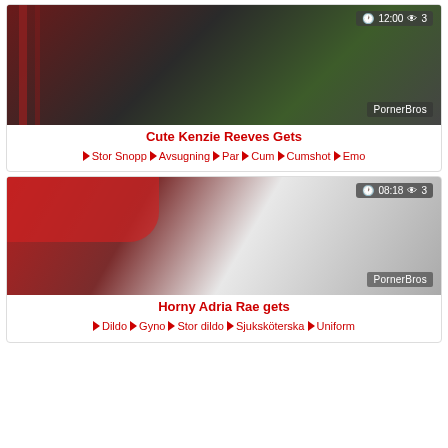[Figure (photo): Thumbnail of gym scene with two people, overlay showing 12:00 duration and 3 views, PornerBros watermark]
Cute Kenzie Reeves Gets  ♦ Stor Snopp ♦ Avsugning ♦ Par ♦ Cum ♦ Cumshot ♦ Emo
[Figure (photo): Thumbnail of gym scene with two people in red and white, overlay showing 08:18 duration and 3 views, PornerBros watermark]
Horny Adria Rae gets  ♦ Dildo ♦ Gyno ♦ Stor dildo ♦ Sjuksköterska ♦ Uniform